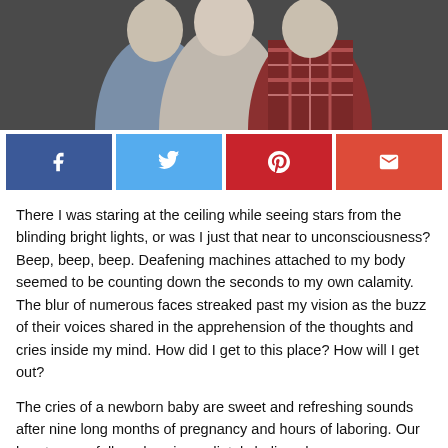[Figure (photo): Photo of three people (two adults and possibly a third person) from the torso up against a dark grey background]
[Figure (infographic): Social media share bar with four buttons: Facebook (blue), Twitter (light blue), Pinterest (red), Email (orange-red)]
There I was staring at the ceiling while seeing stars from the blinding bright lights, or was I just that near to unconsciousness? Beep, beep, beep. Deafening machines attached to my body seemed to be counting down the seconds to my own calamity. The blur of numerous faces streaked past my vision as the buzz of their voices shared in the apprehension of the thoughts and cries inside my mind. How did I get to this place? How will I get out?
The cries of a newborn baby are sweet and refreshing sounds after nine long months of pregnancy and hours of laboring. Our hearts were full, and we immediately believed